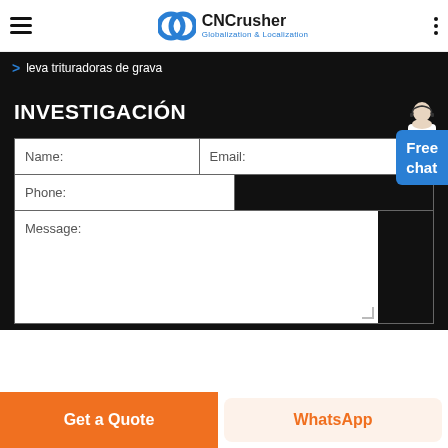CNCrusher Globalization & Localization
> leva trituradoras de grava
INVESTIGACIÓN
[Figure (screenshot): Contact form with fields: Name, Email, Phone, Message]
Free chat
Get a Quote | WhatsApp